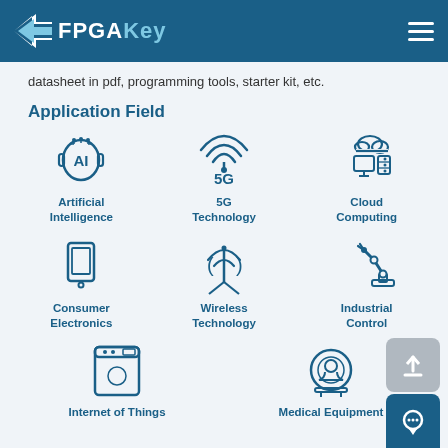FPGAKey
datasheet in pdf, programming tools, starter kit, etc.
Application Field
[Figure (infographic): Application field icons grid: Artificial Intelligence (AI head icon), 5G Technology (5G wifi icon), Cloud Computing (cloud+computer icon), Consumer Electronics (tablet icon), Wireless Technology (antenna tower icon), Industrial Control (robotic arm icon), Internet of Things (washing machine icon), Medical Equipment (MRI/medical icon)]